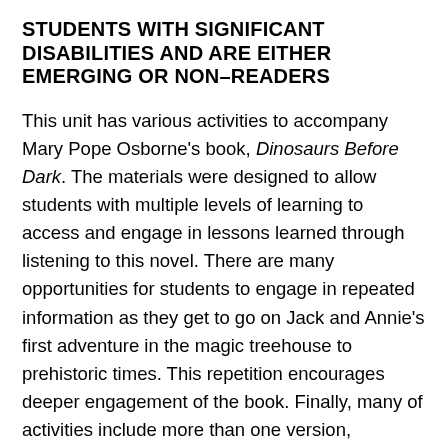STUDENTS WITH SIGNIFICANT DISABILITIES AND ARE EITHER EMERGING OR NON-READERS
This unit has various activities to accompany Mary Pope Osborne's book, Dinosaurs Before Dark. The materials were designed to allow students with multiple levels of learning to access and engage in lessons learned through listening to this novel. There are many opportunities for students to engage in repeated information as they get to go on Jack and Annie's first adventure in the magic treehouse to prehistoric times. This repetition encourages deeper engagement of the book. Finally, many of activities include more than one version, suggestions for differentiation and options for presentation. There is 1 activity (10 different activities) to go with each chapter as your students stay engaged while you read